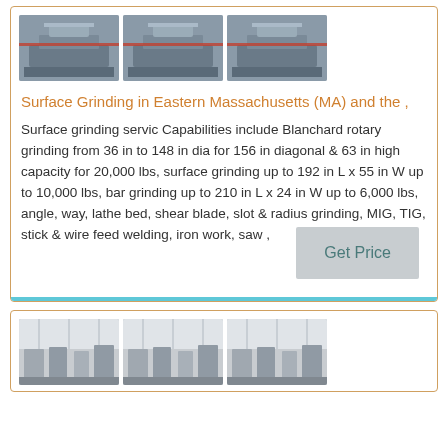[Figure (photo): Three photos of industrial surface grinding machines, shown in a row at top of first card]
Surface Grinding in Eastern Massachusetts (MA) and the ,
Surface grinding servic Capabilities include Blanchard rotary grinding from 36 in to 148 in dia for 156 in diagonal & 63 in high capacity for 20,000 lbs, surface grinding up to 192 in L x 55 in W up to 10,000 lbs, bar grinding up to 210 in L x 24 in W up to 6,000 lbs, angle, way, lathe bed, shear blade, slot & radius grinding, MIG, TIG, stick & wire feed welding, iron work, saw ,
Get Price
[Figure (photo): Three photos of industrial grinding/manufacturing facility interior, shown in a row at top of second card]